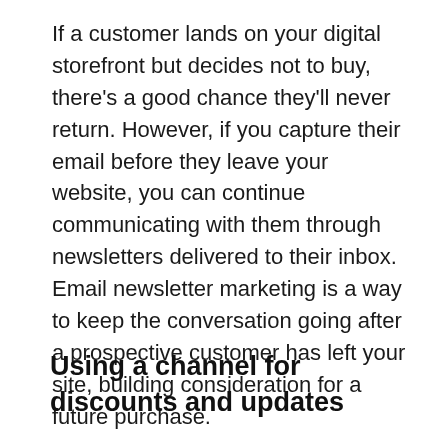If a customer lands on your digital storefront but decides not to buy, there's a good chance they'll never return. However, if you capture their email before they leave your website, you can continue communicating with them through newsletters delivered to their inbox. Email newsletter marketing is a way to keep the conversation going after a prospective customer has left your site, building consideration for a future purchase.
Using a channel for discounts and updates